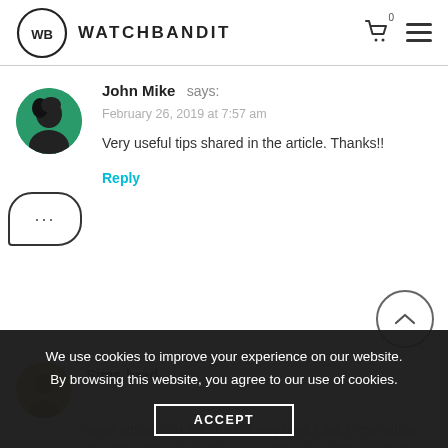WATCHBANDIT
[Figure (illustration): John Mike user avatar - person with dark hair on green background]
John Mike says:
February 26, 2019 at 7:57 am
Very useful tips shared in the article. Thanks!!
Reply
[Figure (illustration): Sims brad user avatar]
Sims brad says:
great article. You are sharing very useful tips in this article. The bracelets are looking cool with wrist watches. I really enjoyed reading this article and found
We use cookies to improve your experience on our website. By browsing this website, you agree to our use of cookies.
ACCEPT